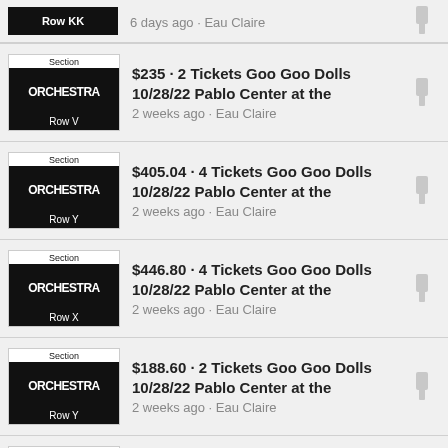Row KK · 6 days ago · Eau Claire
$235 · 2 Tickets Goo Goo Dolls 10/28/22 Pablo Center at the · 2 weeks ago · Eau Claire
$405.04 · 4 Tickets Goo Goo Dolls 10/28/22 Pablo Center at the · 2 weeks ago · Eau Claire
$446.80 · 4 Tickets Goo Goo Dolls 10/28/22 Pablo Center at the · 2 weeks ago · Eau Claire
$188.60 · 2 Tickets Goo Goo Dolls 10/28/22 Pablo Center at the · 2 weeks ago · Eau Claire
$181.64 · 2 Tickets Goo Goo Dolls 10/28/22 Pablo Center at the · 2 weeks ago · Eau Claire
$207.16 · 2 Tickets Goo Goo Dolls 10/28/22 Pablo Center at the